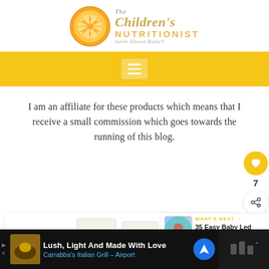[Figure (logo): The Children's Nutritionist logo with orange slice and text 'The Children's NUTRITIONIST Sarah Almond Bushell']
Navigation bar with hamburger menu icon
I am an affiliate for these products which means that I receive a small commission which goes towards the running of this blog.
[Figure (other): Social sidebar with heart/like button showing count 7 and share button]
[Figure (photo): Nature & Nurture product packaging shown in product card]
[Figure (other): What's Next panel showing '35 Easy Baby Led Weanin...' with thumbnail]
[Figure (other): Advertisement bar: Lush, Light And Made With Love - Carrabba's Italian Grill - Airport]